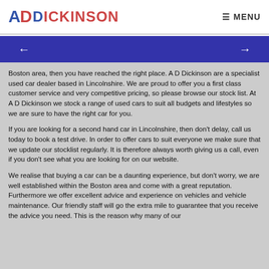AD Dickinson | MENU
[Figure (other): Blue navigation banner with left and right arrow buttons]
Boston area, then you have reached the right place. A D Dickinson are a specialist used car dealer based in Lincolnshire. We are proud to offer you a first class customer service and very competitive pricing, so please browse our stock list. At A D Dickinson we stock a range of used cars to suit all budgets and lifestyles so we are sure to have the right car for you.
If you are looking for a second hand car in Lincolnshire, then don't delay, call us today to book a test drive. In order to offer cars to suit everyone we make sure that we update our stocklist regularly. It is therefore always worth giving us a call, even if you don't see what you are looking for on our website.
We realise that buying a car can be a daunting experience, but don't worry, we are well established within the Boston area and come with a great reputation. Furthermore we offer excellent advice and experience on vehicles and vehicle maintenance. Our friendly staff will go the extra mile to guarantee that you receive the advice you need. This is the reason why many of our